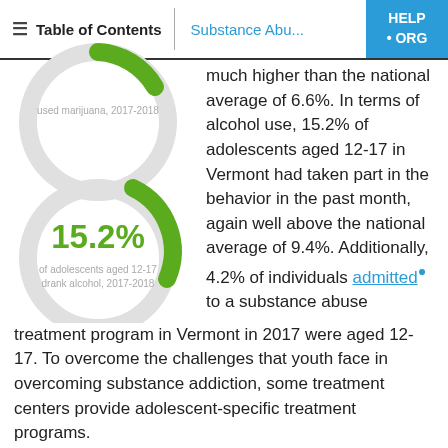Table of Contents | Substance Abu... | HELP • ORG
[Figure (donut-chart): Partial donut chart (cut off) for marijuana use among adolescents aged 12-17, 2017-2018]
[Figure (donut-chart): of adolescents aged 12-17 drank alcohol, 2017-2018]
much higher than the national average of 6.6%. In terms of alcohol use, 15.2% of adolescents aged 12-17 in Vermont had taken part in the behavior in the past month, again well above the national average of 9.4%. Additionally, 4.2% of individuals admitted to a substance abuse treatment program in Vermont in 2017 were aged 12-17. To overcome the challenges that youth face in overcoming substance addiction, some treatment centers provide adolescent-specific treatment programs.